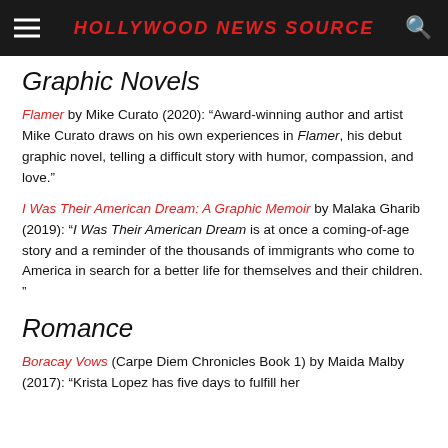HOLLYWOOD NEWS SOURCE
Graphic Novels
Flamer by Mike Curato (2020): “Award-winning author and artist Mike Curato draws on his own experiences in Flamer, his debut graphic novel, telling a difficult story with humor, compassion, and love.”
I Was Their American Dream: A Graphic Memoir by Malaka Gharib (2019): “I Was Their American Dream is at once a coming-of-age story and a reminder of the thousands of immigrants who come to America in search for a better life for themselves and their children. ”
Romance
Boracay Vows (Carpe Diem Chronicles Book 1) by Maida Malby (2017): “Krista Lopez has five days to fulfill her